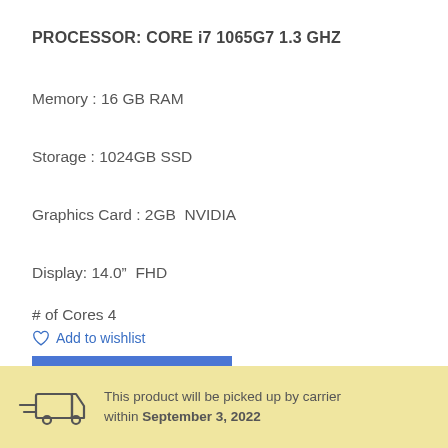PROCESSOR: CORE i7 1065G7 1.3 GHZ
Memory : 16 GB RAM
Storage : 1024GB SSD
Graphics Card : 2GB  NVIDIA
Display: 14.0″  FHD
# of Cores 4
Add to wishlist
COMPARE
This product will be picked up by carrier within September 3, 2022